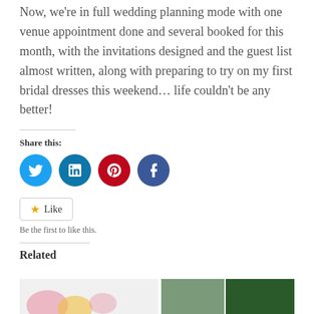Now, we're in full wedding planning mode with one venue appointment done and several booked for this month, with the invitations designed and the guest list almost written, along with preparing to try on my first bridal dresses this weekend… life couldn't be any better!
Share this:
[Figure (infographic): Four social media share buttons as colored circles: Twitter (light blue), LinkedIn (dark blue), Pinterest (red), Facebook (dark blue)]
Like
Be the first to like this.
Related
[Figure (photo): Partial thumbnail images at the bottom of the page, showing two small photo thumbnails on the right side]